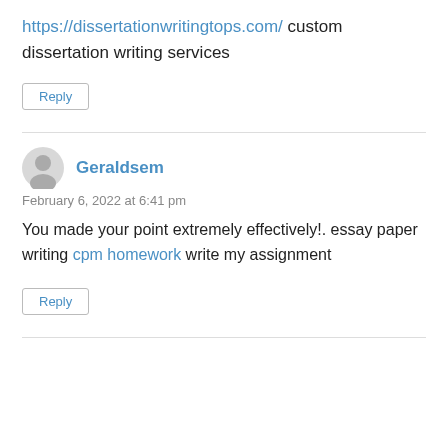https://dissertationwritingtops.com/ custom dissertation writing services
Reply
Geraldsem
February 6, 2022 at 6:41 pm
You made your point extremely effectively!. essay paper writing cpm homework write my assignment
Reply